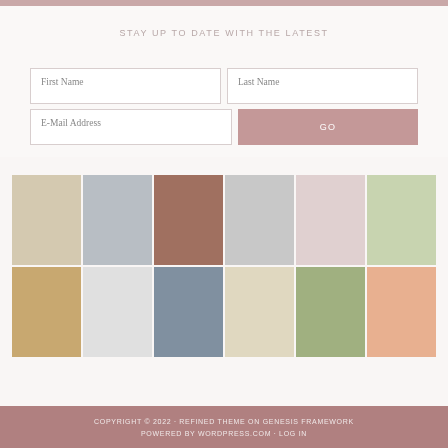STAY UP TO DATE WITH THE LATEST
[Figure (infographic): Email newsletter signup form with fields for First Name, Last Name, E-Mail Address, and a GO button]
[Figure (photo): Instagram-style photo grid with 12 lifestyle photos arranged in 2 rows of 6, showing shoes, baby items, packages, pillows, baby, flowers, wine, and accessories]
COPYRIGHT © 2022 · REFINED THEME ON GENESIS FRAMEWORK · POWERED BY WORDPRESS.COM · LOG IN